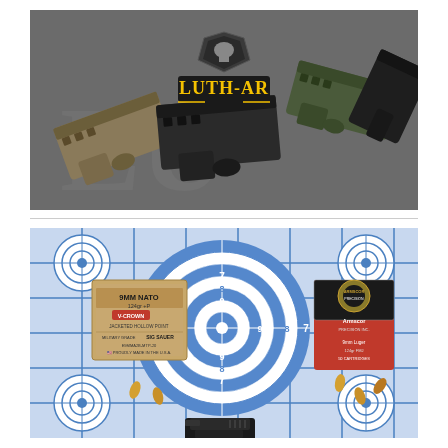[Figure (photo): Product photo showing multiple AR-15 lower receiver parts/stocks in various colors (black, OD green, tan) arranged on a gray surface with the Luth-AR brand logo prominently displayed in yellow and white text in the center top area.]
[Figure (photo): Photo of a blue and white shooting target with scored rings (7, 8, 9, 10) laid flat, with a box of SIG Sauer 9MM NATO 124gr +P V-Crown ammunition on the left, a red and black box of Armscor ammunition on the right, spent bullet casings scattered around, and part of a pistol visible at the bottom.]